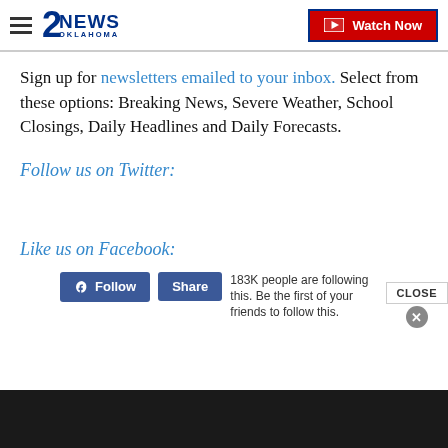2NEWS OKLAHOMA | Watch Now
Sign up for newsletters emailed to your inbox. Select from these options: Breaking News, Severe Weather, School Closings, Daily Headlines and Daily Forecasts.
Follow us on Twitter:
Like us on Facebook:
[Figure (screenshot): Facebook widget with Follow and Share buttons, showing 183K people are following this. Be the first of your friends to follow this.]
CLOSE